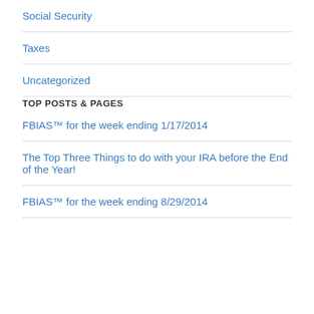Social Security
Taxes
Uncategorized
TOP POSTS & PAGES
FBIAS™ for the week ending 1/17/2014
The Top Three Things to do with your IRA before the End of the Year!
FBIAS™ for the week ending 8/29/2014